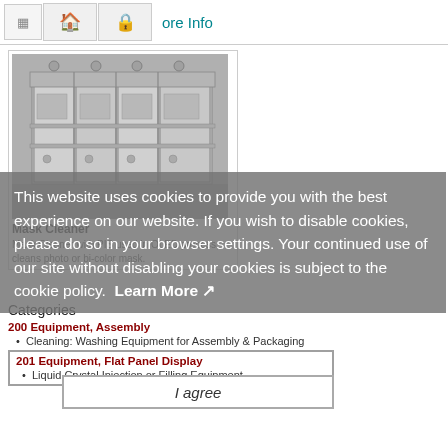More Info
[Figure (photo): Industrial mask cleaner machine — large factory equipment with metallic frames and multiple components, shown in a product listing image.]
Mask Cleaner
Mask Cleaner with PIS used in OLED process, cleans photo or bi-color mask.
This website uses cookies to provide you with the best experience on our website. If you wish to disable cookies, please do so in your browser settings. Your continued use of our site without disabling your cookies is subject to the cookie policy. Learn More
Categories
200 Equipment, Assembly
Cleaning: Washing Equipment for Assembly & Packaging
201 Equipment, Flat Panel Display
Liquid Crystal Injection or Filling Equipment
I agree